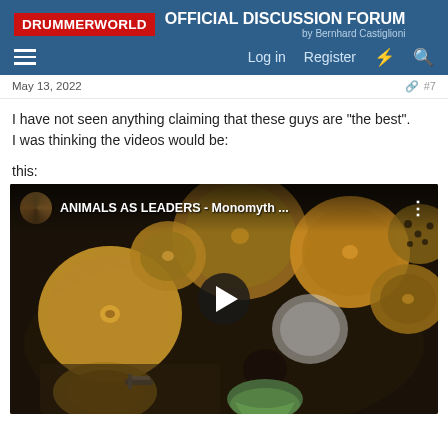DRUMMERWORLD OFFICIAL DISCUSSION FORUM by Bernhard Castiglioni
May 13, 2022  #7
I have not seen anything claiming that these guys are "the best". I was thinking the videos would be:
this:
[Figure (screenshot): YouTube video thumbnail for 'ANIMALS AS LEADERS - Monomyth ...' showing an overhead view of a drum kit with many cymbals, with a drummer visible from above. A play button is overlaid in the center.]